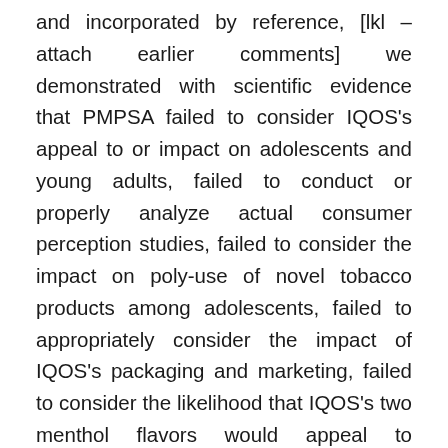and incorporated by reference, [lkl – attach earlier comments] we demonstrated with scientific evidence that PMPSA failed to consider IQOS's appeal to or impact on adolescents and young adults, failed to conduct or properly analyze actual consumer perception studies, failed to consider the impact on poly-use of novel tobacco products among adolescents, failed to appropriately consider the impact of IQOS's packaging and marketing, failed to consider the likelihood that IQOS's two menthol flavors would appeal to adolescents and young adults and encourage initiation among non-users, and failed to consider the likelihood that consumers, including adolescents and young adults, will misinterpret MRTP claims. Thus, we demonstrated that Philip Morris had failed to prove that IQOS would benefit the health of the population as a whole as required by section 911(a)(4). Importantly, section 911(a)